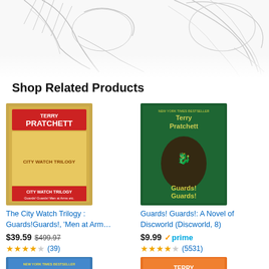[Figure (illustration): Pencil sketch drawings of animal heads (dog/horse), partially visible at top of page, cropped]
Shop Related Products
[Figure (photo): Book cover: The City Watch Trilogy by Terry Pratchett (Guards!Guards!, 'Men at Arm...)]
The City Watch Trilogy : Guards!Guards!, 'Men at Arm…
$39.59  $499.97
★★★★☆ (39)
[Figure (photo): Book cover: Guards! Guards!: A Novel of Discworld (Discworld, 8) by Terry Pratchett]
Guards! Guards!: A Novel of Discworld (Discworld, 8)
$9.99  ✓prime
★★★★☆ (5531)
[Figure (photo): Partial book cover bottom of page, Terry Pratchett (left side)]
[Figure (photo): Partial book cover bottom of page (right side), orange/yellow cover]